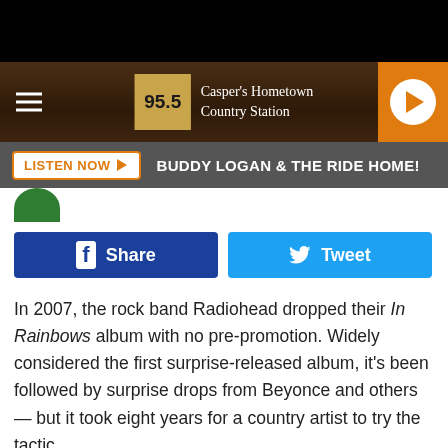[Figure (screenshot): Radio station 95.5 navigation bar with wood texture background, hamburger menu icon, 95.5 logo, Casper's Hometown Country Station text, and orange play button]
LISTEN NOW ▶  BUDDY LOGAN & THE RIDE HOME!
[Figure (other): Facebook Share button (dark blue) and Twitter Tweet button (light blue)]
In 2007, the rock band Radiohead dropped their In Rainbows album with no pre-promotion. Widely considered the first surprise-released album, it's been followed by surprise drops from Beyonce and others — but it took eight years for a country artist to try the tactic.
On Nov. 3, 2015, members of Eric Church's fan club, the Church Choir, began receiving packages, both in the mail and via email, from the country star: a 10-track album apparently